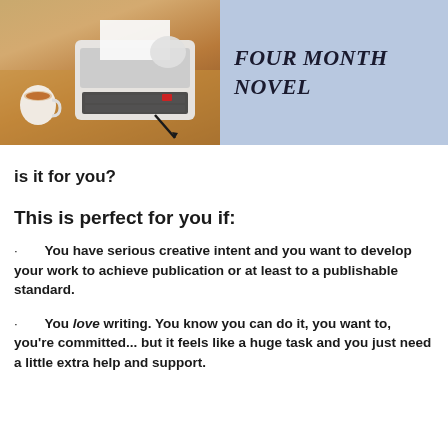[Figure (illustration): Header banner: left half shows a photo of a typewriter with coffee cup and pen on a wooden desk; right half is a light blue panel with italic bold text 'FOUR MONTH NOVEL']
is it for you?
This is perfect for you if:
You have serious creative intent and you want to develop your work to achieve publication or at least to a publishable standard.
You love writing. You know you can do it, you want to, you're committed... but it feels like a huge task and you just need a little extra help and support.